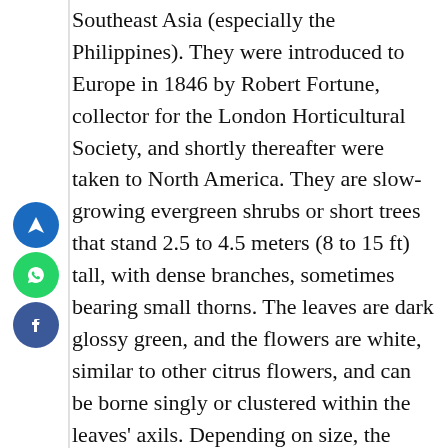Southeast Asia (especially the Philippines). They were introduced to Europe in 1846 by Robert Fortune, collector for the London Horticultural Society, and shortly thereafter were taken to North America. They are slow-growing evergreen shrubs or short trees that stand 2.5 to 4.5 meters (8 to 15 ft) tall, with dense branches, sometimes bearing small thorns. The leaves are dark glossy green, and the flowers are white, similar to other citrus flowers, and can be borne singly or clustered within the leaves' axils. Depending on size, the kumquat tree can produce hundreds or even thousands of fruits each year. Kumquats (Chinese: ??, gamgat or jinjú), or cumquats in Australian English, are a group of small fruit-bearing trees in the flowering plant family Rutaceae. They were previously classified for a time as historically
[Figure (other): Three social media sharing icons stacked vertically on the left side: blue navigation/share icon, green WhatsApp icon, dark blue Facebook icon]